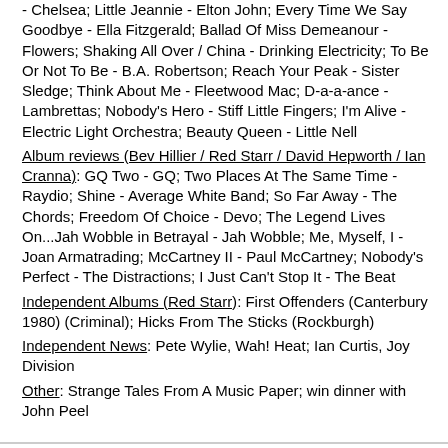- Chelsea; Little Jeannie - Elton John; Every Time We Say Goodbye - Ella Fitzgerald; Ballad Of Miss Demeanour - Flowers; Shaking All Over / China - Drinking Electricity; To Be Or Not To Be - B.A. Robertson; Reach Your Peak - Sister Sledge; Think About Me - Fleetwood Mac; D-a-a-ance - Lambrettas; Nobody's Hero - Stiff Little Fingers; I'm Alive - Electric Light Orchestra; Beauty Queen - Little Nell
Album reviews (Bev Hillier / Red Starr / David Hepworth / Ian Cranna): GQ Two - GQ; Two Places At The Same Time - Raydio; Shine - Average White Band; So Far Away - The Chords; Freedom Of Choice - Devo; The Legend Lives On...Jah Wobble in Betrayal - Jah Wobble; Me, Myself, I - Joan Armatrading; McCartney II - Paul McCartney; Nobody's Perfect - The Distractions; I Just Can't Stop It - The Beat
Independent Albums (Red Starr): First Offenders (Canterbury 1980) (Criminal); Hicks From The Sticks (Rockburgh)
Independent News: Pete Wylie, Wah! Heat; Ian Curtis, Joy Division
Other: Strange Tales From A Music Paper; win dinner with John Peel